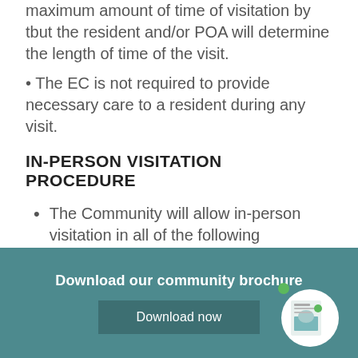maximum amount of time of visitation by tbut the resident and/or POA will determine the length of time of the visit.
The EC is not required to provide necessary care to a resident during any visit.
IN-PERSON VISITATION PROCEDURE
The Community will allow in-person visitation in all of the following circumstances
Download our community brochure
Download now